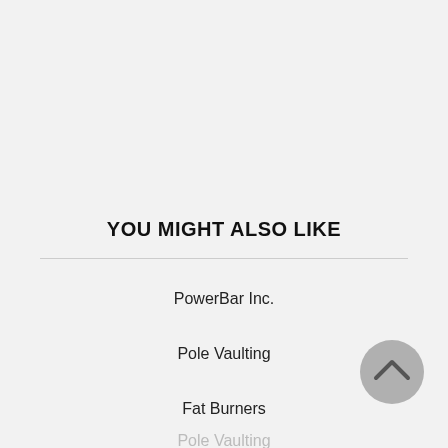YOU MIGHT ALSO LIKE
PowerBar Inc.
Pole Vaulting
Fat Burners
Pole Vaulting
[Figure (illustration): A circular grey back-to-top button with an upward-pointing chevron arrow icon]